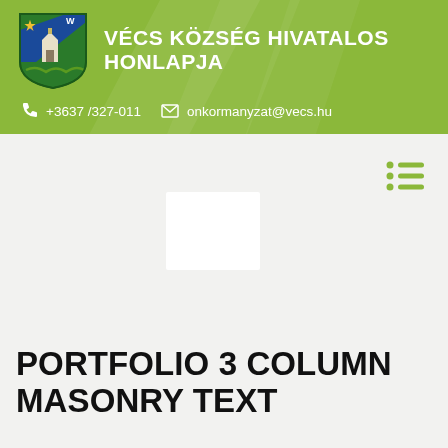VÉCS KÖZSÉG HIVATALOS HONLAPJA
+3637 /327-011   onkormanyzat@vecs.hu
[Figure (screenshot): White placeholder image box centered in gray content area with hamburger/list menu icon at top right]
PORTFOLIO 3 COLUMN MASONRY TEXT